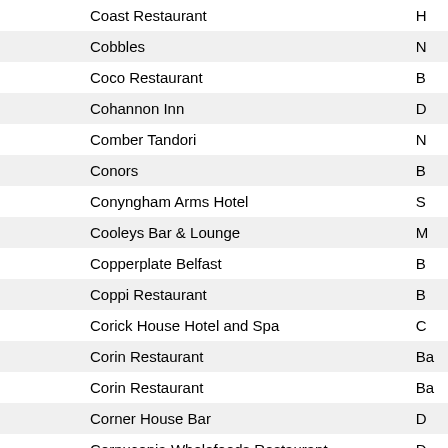| Name | Location |
| --- | --- |
| Coast Restaurant | H |
| Cobbles | N |
| Coco Restaurant | B |
| Cohannon Inn | D |
| Comber Tandori | N |
| Conors | B |
| Conyngham Arms Hotel | S |
| Cooleys Bar & Lounge | M |
| Copperplate Belfast | B |
| Coppi Restaurant | B |
| Corick House Hotel and Spa | C |
| Corin Restaurant | Ba |
| Corin Restaurant | Ba |
| Corner House Bar | D |
| Cornucopia Wholefoods Restaurant | D |
| Corrs Corner Hotel | N |
| Cosgroves Bar | B |
| Cosmo Restaurant | B |